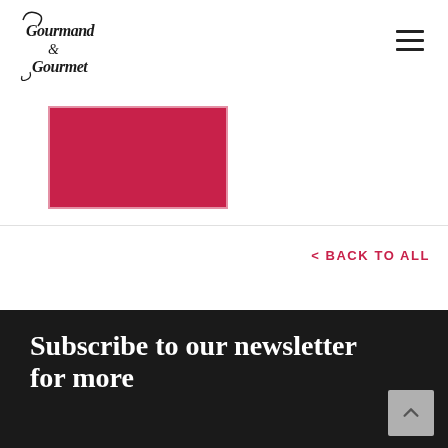Gourmand & Gourmet
[Figure (photo): Red/crimson colored rectangular image block with white border inset, partially visible, representing a recipe or food-related image thumbnail]
< BACK TO ALL
Subscribe to our newsletter for more